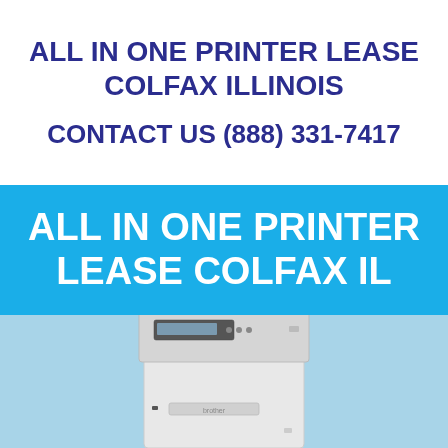ALL IN ONE PRINTER LEASE COLFAX ILLINOIS
CONTACT US (888) 331-7417
ALL IN ONE PRINTER LEASE COLFAX IL
[Figure (photo): Photo of a Brother all-in-one multifunction laser printer on a light blue background]